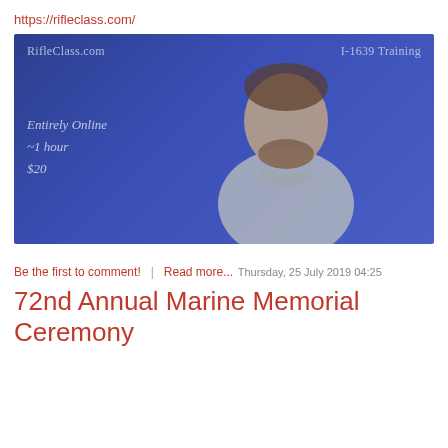https://rifleclass.com/
[Figure (photo): A man in a grey polo shirt standing in front of a blue background. Text overlays read: RifleClass.com (top left), I-1639 Training (top right), Entirely Online ~1 hour $20 (middle left).]
Be the first to comment! | Read more...
Thursday, 25 July 2019 04:25
72nd Annual Marine Memorial Ceremony